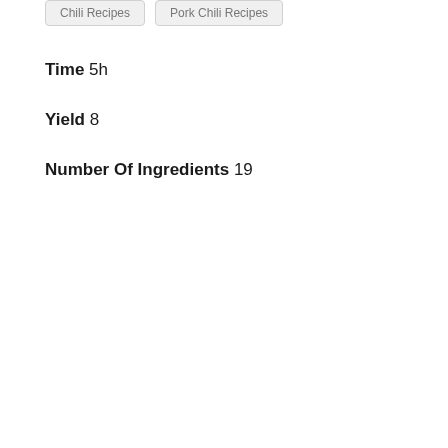Chili Recipes
Pork Chili Recipes
Time 5h
Yield 8
Number Of Ingredients 19